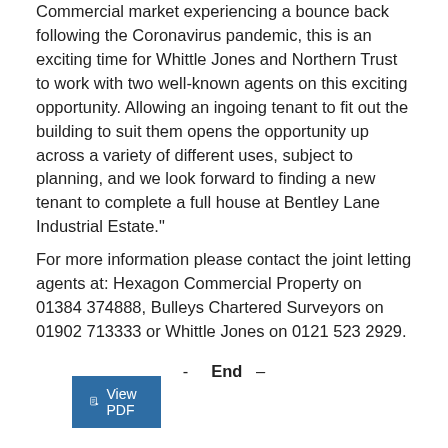Commercial market experiencing a bounce back following the Coronavirus pandemic, this is an exciting time for Whittle Jones and Northern Trust to work with two well-known agents on this exciting opportunity. Allowing an ingoing tenant to fit out the building to suit them opens the opportunity up across a variety of different uses, subject to planning, and we look forward to finding a new tenant to complete a full house at Bentley Lane Industrial Estate."
For more information please contact the joint letting agents at: Hexagon Commercial Property on 01384 374888, Bulleys Chartered Surveyors on 01902 713333 or Whittle Jones on 0121 523 2929.
- End -
View PDF